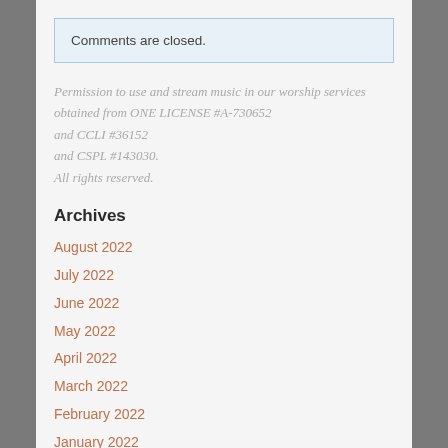Comments are closed.
Permission to use and stream music in our worship services obtained from ONE LICENSE #A-730652 and CCLI #36152 and CSPL #143030. All rights reserved.
Archives
August 2022
July 2022
June 2022
May 2022
April 2022
March 2022
February 2022
January 2022